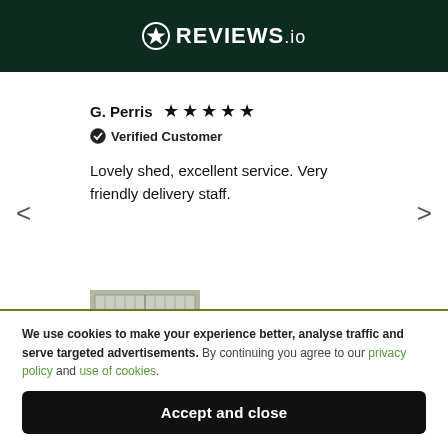[Figure (logo): REVIEWS.io logo on dark green background with star icon]
G. Perris ★★★★★
✅ Verified Customer
Lovely shed, excellent service. Very friendly delivery staff.
[Figure (photo): Photo of a grey shed with double doors]
We use cookies to make your experience better, analyse traffic and serve targeted advertisements. By continuing you agree to our privacy policy and use of cookies.
Accept and close